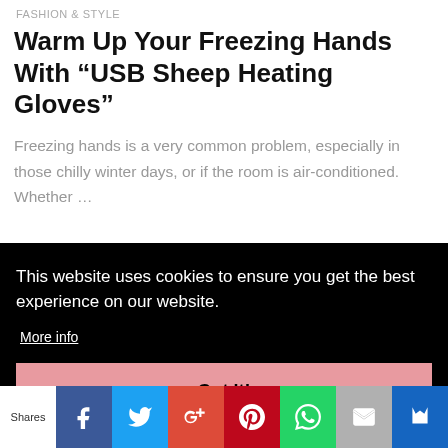FASHION & STYLE
Warm Up Your Freezing Hands With “USB Sheep Heating Gloves”
Freezing hands is a very common problem, especially in those chilly winter days, or if the room is air-conditioned. Whether …
This website uses cookies to ensure you get the best experience on our website. More info Got it!
Shares